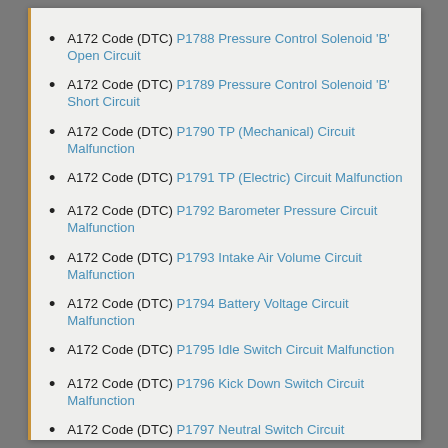A172 Code (DTC) P1788 Pressure Control Solenoid 'B' Open Circuit
A172 Code (DTC) P1789 Pressure Control Solenoid 'B' Short Circuit
A172 Code (DTC) P1790 TP (Mechanical) Circuit Malfunction
A172 Code (DTC) P1791 TP (Electric) Circuit Malfunction
A172 Code (DTC) P1792 Barometer Pressure Circuit Malfunction
A172 Code (DTC) P1793 Intake Air Volume Circuit Malfunction
A172 Code (DTC) P1794 Battery Voltage Circuit Malfunction
A172 Code (DTC) P1795 Idle Switch Circuit Malfunction
A172 Code (DTC) P1796 Kick Down Switch Circuit Malfunction
A172 Code (DTC) P1797 Neutral Switch Circuit Malfunction
A172 Code (DTC) P1798 Coolant Temperature Circuit Malfunction